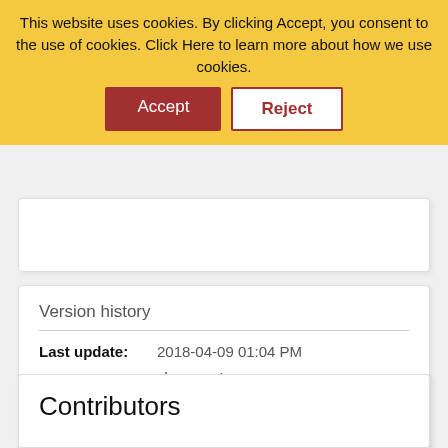This website uses cookies. By clicking Accept, you consent to the use of cookies. Click Here to learn more about how we use cookies.
Accept
Reject
Version history
Last update: 2018-04-09 01:04 PM
Updated by: NetWitnessTeam
Contributors